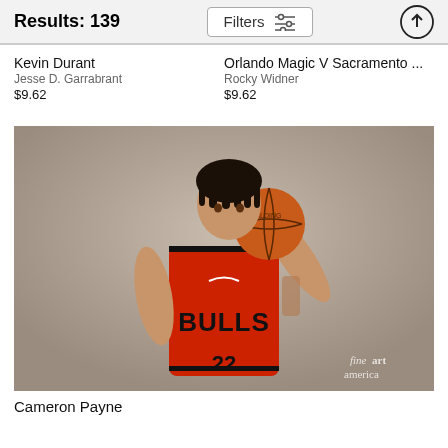Results: 139
Kevin Durant
Jesse D. Garrabrant
$9.62
Orlando Magic V Sacramento ...
Rocky Widner
$9.62
[Figure (photo): A Chicago Bulls basketball player (Cameron Payne) in a red Bulls jersey holding a basketball on his shoulder, posed against a neutral gray-brown studio background. The fine art america watermark is visible in the bottom right.]
Cameron Payne